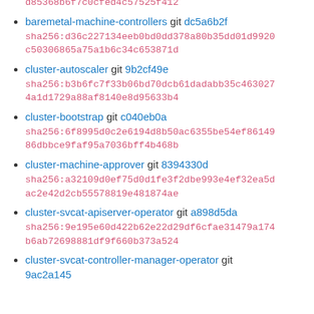sha256:...d85368b6f7c0cfed4c57525f412 (partial top)
baremetal-machine-controllers git dc5a6b2f sha256:d36c227134eeb0bd0dd378a80b35dd01d9920c50306865a75a1b6c34c653871d
cluster-autoscaler git 9b2cf49e sha256:b3b6fc7f33b06bd70dcb61dadabb35c4630274a1d1729a88af8140e8d95633b4
cluster-bootstrap git c040eb0a sha256:6f8995d0c2e6194d8b50ac6355be54ef8614986dbbce9faf95a7036bff4b468b
cluster-machine-approver git 8394330d sha256:a32109d0ef75d0d1fe3f2dbe993e4ef32ea5dac2e42d2cb55578819e481874ae
cluster-svcat-apiserver-operator git a898d5da sha256:9e195e60d422b62e22d29df6cfae31479a174b6ab72698881df9f660b373a524
cluster-svcat-controller-manager-operator git 9ac2a145